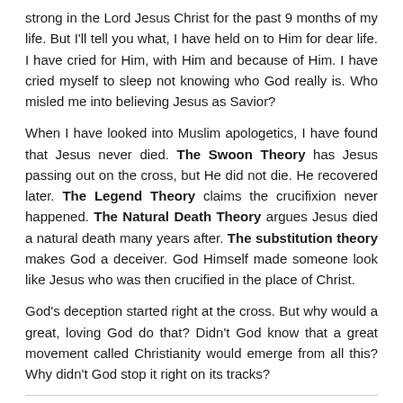strong in the Lord Jesus Christ for the past 9 months of my life. But I'll tell you what, I have held on to Him for dear life. I have cried for Him, with Him and because of Him. I have cried myself to sleep not knowing who God really is. Who misled me into believing Jesus as Savior?
When I have looked into Muslim apologetics, I have found that Jesus never died. The Swoon Theory has Jesus passing out on the cross, but He did not die. He recovered later. The Legend Theory claims the crucifixion never happened. The Natural Death Theory argues Jesus died a natural death many years after. The substitution theory makes God a deceiver. God Himself made someone look like Jesus who was then crucified in the place of Christ.
God's deception started right at the cross. But why would a great, loving God do that? Didn't God know that a great movement called Christianity would emerge from all this? Why didn't God stop it right on its tracks?
Was my God a deceiver like some